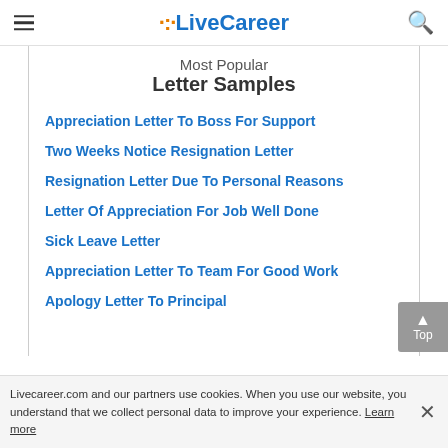LiveCareer
Most Popular
Letter Samples
Appreciation Letter To Boss For Support
Two Weeks Notice Resignation Letter
Resignation Letter Due To Personal Reasons
Letter Of Appreciation For Job Well Done
Sick Leave Letter
Appreciation Letter To Team For Good Work
Apology Letter To Principal
Livecareer.com and our partners use cookies. When you use our website, you understand that we collect personal data to improve your experience. Learn more